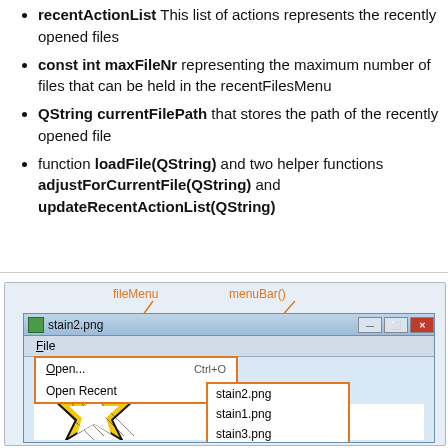recentActionList: This list of actions represents the recently opened files
const int maxFileNr representing the maximum number of files that can be held in the recentFilesMenu
QString currentFilePath that stores the path of the recently opened file
function loadFile(QString) and two helper functions adjustForCurrentFile(QString) and updateRecentActionList(QString)
[Figure (screenshot): Screenshot of a Qt application window titled stain2.png with a File menu open showing Open... (Ctrl+O) and Open Recent with a submenu listing stain2.png, stain1.png, stain3.png, stain4.png. Callout labels point to fileMenu, menuBar(), and recentFilesMenu.]